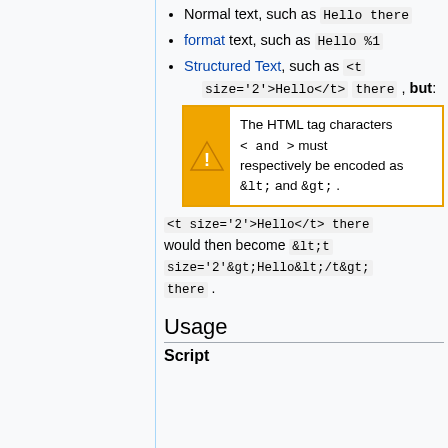Normal text, such as Hello there
format text, such as Hello %1
Structured Text, such as <t size='2'>Hello</t> there , but:
The HTML tag characters < and > must respectively be encoded as &lt; and &gt;.
<t size='2'>Hello</t> there would then become &lt;t size='2'&gt;Hello&lt;/t&gt; there .
Usage
Script